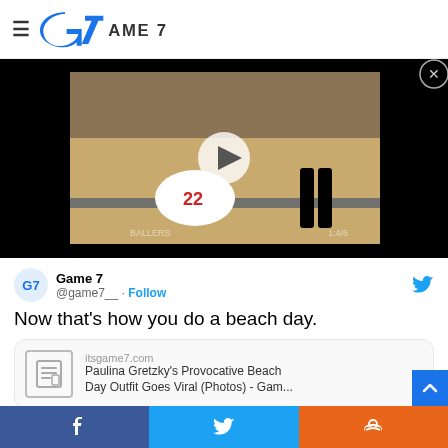Game 7 logo and navigation
[Figure (screenshot): Basketball video player showing player #22 on court floor with referee, play button overlay, black letterbox bars, Ballers watermark]
Game 7 @game7__ · Follow
Now that's how you do a beach day.
itsgame7.com
Paulina Gretzky's Provocative Beach Day Outfit Goes Viral (Photos) - Gam...
2:29 PM · Jun 15, 2022
Facebook share | Twitter share | Reddit share